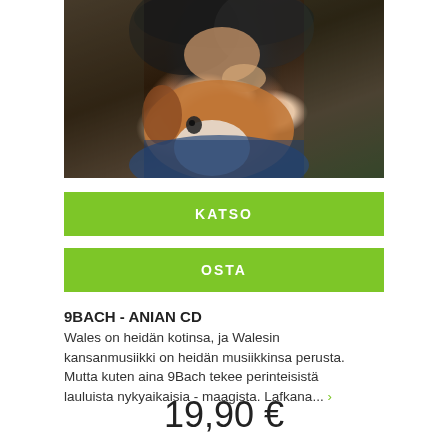[Figure (photo): A person holding a brown and white dog, the dog's face close to the camera, person wearing colorful clothing, dark background]
KATSO
OSTA
9BACH - ANIAN CD
Wales on heidän kotinsa, ja Walesin kansanmusiikki on heidän musiikkinsa perusta. Mutta kuten aina 9Bach tekee perinteisistä lauluista nykyaikaisia - maagista. Lafkana... ›
19,90 €